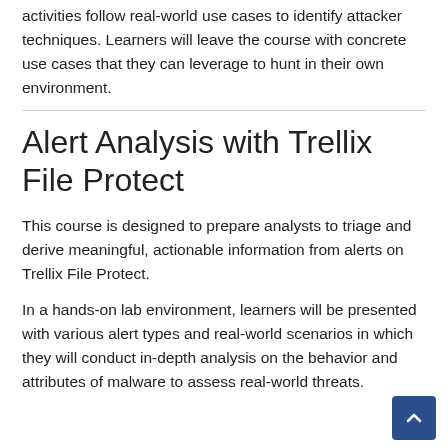activities follow real-world use cases to identify attacker techniques. Learners will leave the course with concrete use cases that they can leverage to hunt in their own environment.
Alert Analysis with Trellix File Protect
This course is designed to prepare analysts to triage and derive meaningful, actionable information from alerts on Trellix File Protect.
In a hands-on lab environment, learners will be presented with various alert types and real-world scenarios in which they will conduct in-depth analysis on the behavior and attributes of malware to assess real-world threats.